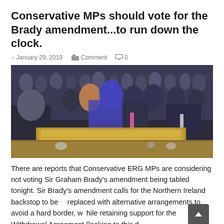Conservative MPs should vote for the Brady amendment...to run down the clock.
January 29, 2019  Comment  0
[Figure (photo): Photo of the UK House of Commons chamber packed with MPs, showing the dispatch box in the foreground and rows of seated and standing members in the background.]
There are reports that Conservative ERG MPs are considering not voting Sir Graham Brady's amendment being tabled tonight. Sir Brady's amendment calls for the Northern Ireland backstop to be replaced with alternative arrangements to avoid a hard border, while retaining support for the Withdrawal Agreement (looking to this d...